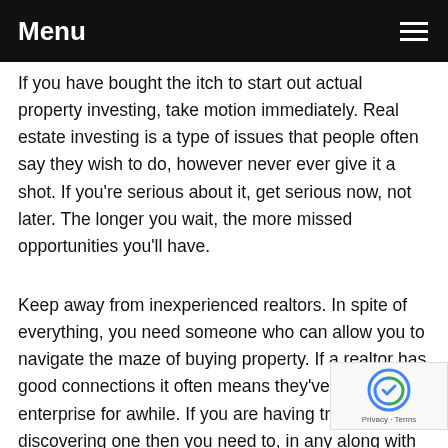Menu
If you have bought the itch to start out actual property investing, take motion immediately. Real estate investing is a type of issues that people often say they wish to do, however never ever give it a shot. If you're serious about it, get serious now, not later. The longer you wait, the more missed opportunities you'll have.
Keep away from inexperienced realtors. In spite of everything, you need someone who can allow you to navigate the maze of buying property. If a realtor has good connections it often means they've been in the enterprise for awhile. If you are having trouble discovering one then you need to, in any along with an company that has a observe document in properties.